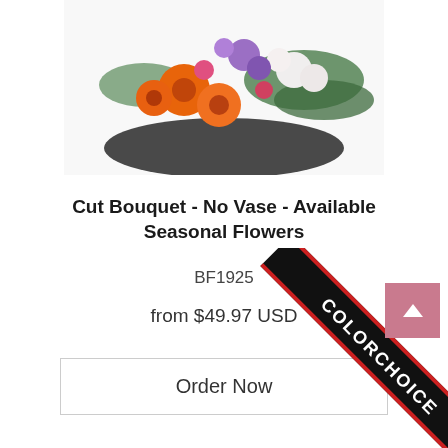[Figure (photo): Colorful cut flower bouquet with orange gerbera daisies, purple flowers, white blooms, and greenery arranged on a dark surface, photographed from above.]
Cut Bouquet - No Vase - Available Seasonal Flowers
BF1925
from $49.97 USD
Order Now
[Figure (illustration): Diagonal black ribbon banner with red border and white text reading COLORCHOICE, overlaid in the bottom-right corner. A pink/mauve square scroll-to-top button with an upward chevron arrow is also visible.]